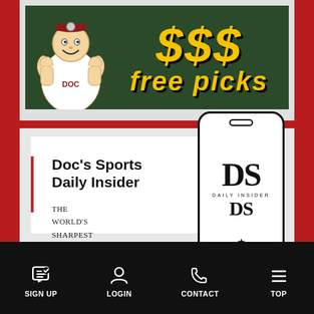[Figure (illustration): Promotional banner with doctor character and 'free picks' text on dark green background with money imagery]
[Figure (illustration): Doc's Sports Daily Insider promotional card showing newsletter title text and phone mockup with DS Daily Insider logo]
SIGN UP  LOGIN  CONTACT  TOP